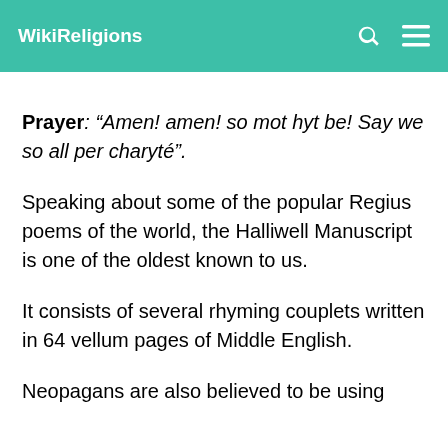WikiReligions
Prayer: “Amen! amen! so mot hyt be! Say we so all per charyté”.
Speaking about some of the popular Regius poems of the world, the Halliwell Manuscript is one of the oldest known to us.
It consists of several rhyming couplets written in 64 vellum pages of Middle English.
Neopagans are also believed to be using